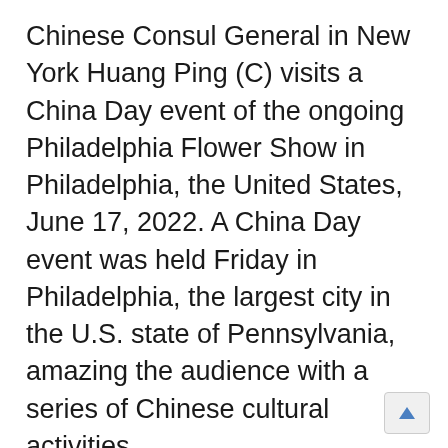Chinese Consul General in New York Huang Ping (C) visits a China Day event of the ongoing Philadelphia Flower Show in Philadelphia, the United States, June 17, 2022. A China Day event was held Friday in Philadelphia, the largest city in the U.S. state of Pennsylvania, amazing the audience with a series of Chinese cultural activities.
Featuring traditional Chinese instruments, a lion dance performance, Peking Opera, a Chinese tea ceremony, a kung-fu performance, and promotion videos of east China's cities of Hangzhou and Yangzhou, the event is part of the ongoing Philadelphia Flower Show's first...